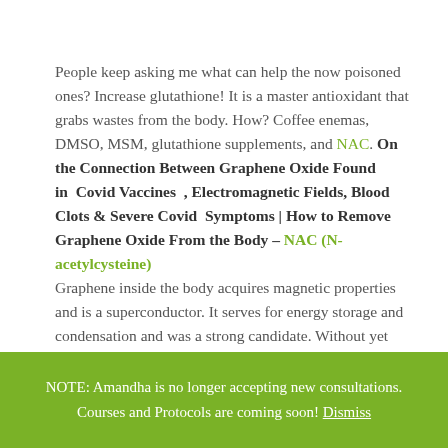People keep asking me what can help the now poisoned ones? Increase glutathione! It is a master antioxidant that grabs wastes from the body. How? Coffee enemas, DMSO, MSM, glutathione supplements, and NAC. On the Connection Between Graphene Oxide Found in Covid Vaccines , Electromagnetic Fields, Blood Clots & Severe Covid Symptoms | How to Remove Graphene Oxide From the Body – NAC (N-acetylcysteine) Graphene inside the body acquires magnetic properties and is a superconductor. It serves for energy storage and condensation and was a strong candidate. Without yet having any knowledge of what was inside the vial, we realized that the.
NOTE: Amandha is no longer accepting new consultations. Courses and Protocols are coming soon! Dismiss